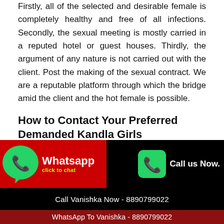Firstly, all of the selected and desirable female is completely healthy and free of all infections. Secondly, the sexual meeting is mostly carried in a reputed hotel or guest houses. Thirdly, the argument of any nature is not carried out with the client. Post the making of the sexual contract. We are a reputable platform through which the bridge amid the client and the hot female is possible.
How to Contact Your Preferred Demanded Kandla Girls
One can always check out the profile of the hot female call girls in Kandla, Anjar, Gujarat to their satisfaction. There is
[Figure (infographic): WhatsApp click to chat button with green phone icon on red background, and Call us Now button with green phone icon on black background]
Call Vanishka Now - 8890799022
WhatsApp To Vanishka - 8890799022